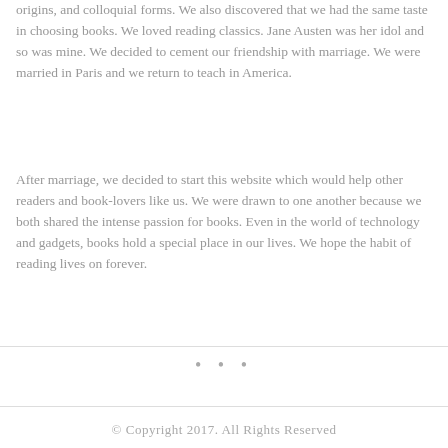origins, and colloquial forms. We also discovered that we had the same taste in choosing books. We loved reading classics. Jane Austen was her idol and so was mine. We decided to cement our friendship with marriage. We were married in Paris and we return to teach in America.
After marriage, we decided to start this website which would help other readers and book-lovers like us. We were drawn to one another because we both shared the intense passion for books. Even in the world of technology and gadgets, books hold a special place in our lives. We hope the habit of reading lives on forever.
© Copyright 2017. All Rights Reserved